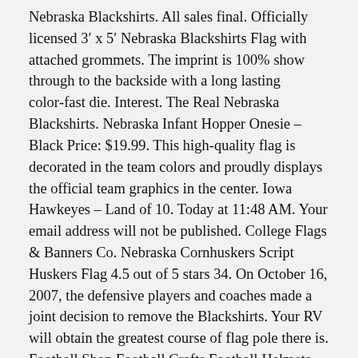Nebraska Blackshirts. All sales final. Officially licensed 3′ x 5′ Nebraska Blackshirts Flag with attached grommets. The imprint is 100% show through to the backside with a long lasting color-fast die. Interest. The Real Nebraska Blackshirts. Nebraska Infant Hopper Onesie – Black Price: $19.99. This high-quality flag is decorated in the team colors and proudly displays the official team graphics in the center. Iowa Hawkeyes – Land of 10. Today at 11:48 AM. Your email address will not be published. College Flags & Banners Co. Nebraska Cornhuskers Script Huskers Flag 4.5 out of 5 stars 34. On October 16, 2007, the defensive players and coaches made a joint decision to remove the Blackshirts. Your RV will obtain the greatest course of flag pole there is. Football Shop Football Crafts Football Helmets Nebraska Cornhuskers Football Nebraska Football Sport Craft Sports Images Football Pictures Flag Shirt. We have a full installation service that can handle all of your flagpole installation needs. Collegiate flag. Nebraska Huskers. The American Flag is the backbone of our company. 3′ x 5′. Sport: Football. Blackshirts 8 Inch Static